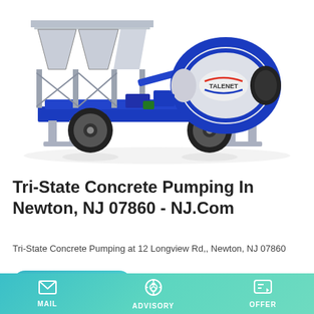[Figure (photo): A Talenet brand mobile concrete mixer/batching plant on wheels, white and blue in color, with large mixing drum, aggregate hoppers, and conveyor system.]
Tri-State Concrete Pumping In Newton, NJ 07860 - NJ.Com
Tri-State Concrete Pumping at 12 Longview Rd,, Newton, NJ 07860
MAIL   ADVISORY   OFFER